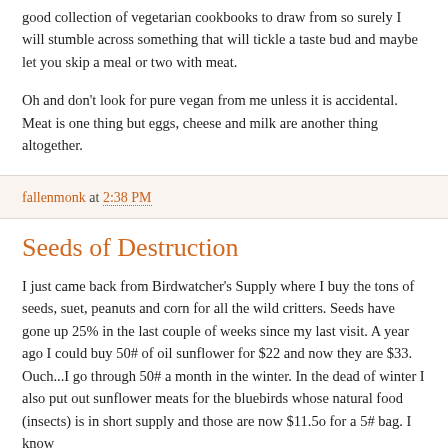good collection of vegetarian cookbooks to draw from so surely I will stumble across something that will tickle a taste bud and maybe let you skip a meal or two with meat.
Oh and don't look for pure vegan from me unless it is accidental. Meat is one thing but eggs, cheese and milk are another thing altogether.
fallenmonk at 2:38 PM
Seeds of Destruction
I just came back from Birdwatcher's Supply where I buy the tons of seeds, suet, peanuts and corn for all the wild critters. Seeds have gone up 25% in the last couple of weeks since my last visit. A year ago I could buy 50# of oil sunflower for $22 and now they are $33. Ouch...I go through 50# a month in the winter. In the dead of winter I also put out sunflower meats for the bluebirds whose natural food (insects) is in short supply and those are now $11.5o for a 5# bag. I know